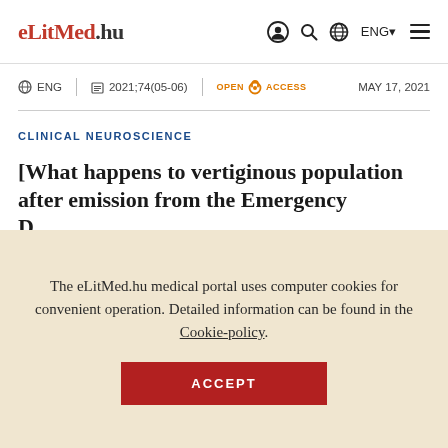eLitMed.hu
ENG | 2021;74(05-06) | OPEN ACCESS | MAY 17, 2021
CLINICAL NEUROSCIENCE
[What happens to vertiginous population after emission from the Emergency Department]
The eLitMed.hu medical portal uses computer cookies for convenient operation. Detailed information can be found in the Cookie-policy.
ACCEPT